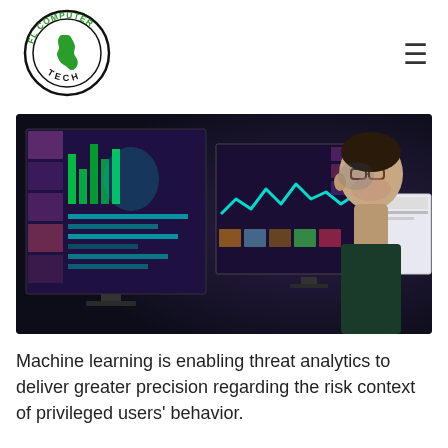[Figure (logo): FL Computer Tech logo: circular badge with green text 'FL COMPUTER' on top arc and 'TECH' on bottom arc, with Florida state outline in green inside a circle]
[Figure (photo): Person with glasses looking at multiple monitors displaying data dashboards, security analytics, charts and graphs in a dark environment]
Machine learning is enabling threat analytics to deliver greater precision regarding the risk context of privileged users' behavior.